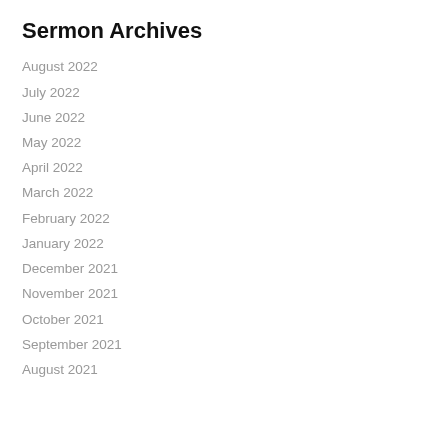Sermon Archives
August 2022
July 2022
June 2022
May 2022
April 2022
March 2022
February 2022
January 2022
December 2021
November 2021
October 2021
September 2021
August 2021